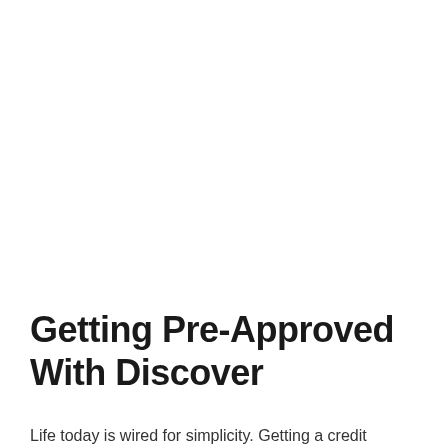Getting Pre-Approved With Discover
Life today is wired for simplicity. Getting a credit